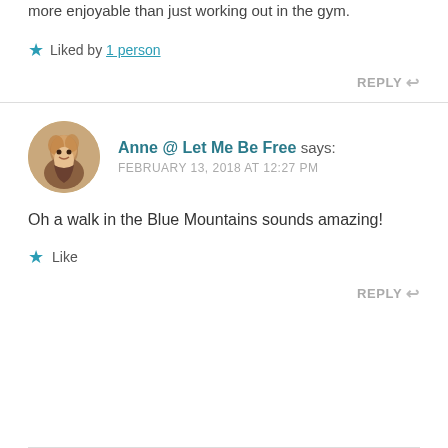more enjoyable than just working out in the gym.
Liked by 1 person
REPLY
Anne @ Let Me Be Free says: FEBRUARY 13, 2018 AT 12:27 PM
Oh a walk in the Blue Mountains sounds amazing!
Like
REPLY